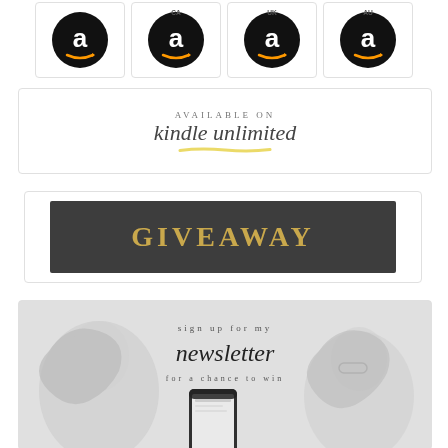[Figure (illustration): Four Amazon logo circles in black with white 'a' letter and smile, labeled CA, UK, AU on top of three circles, displayed in a white-bordered card row]
[Figure (illustration): White banner with 'AVAILABLE ON' in small caps and 'kindle unlimited' in cursive script with a yellow brushstroke underline]
[Figure (illustration): Dark gray banner with 'GIVEAWAY' in gold bold uppercase letters, set inside a white-bordered card]
[Figure (illustration): Newsletter signup banner with illustrated woman and phone, text: 'sign up for my newsletter for a chance to win']